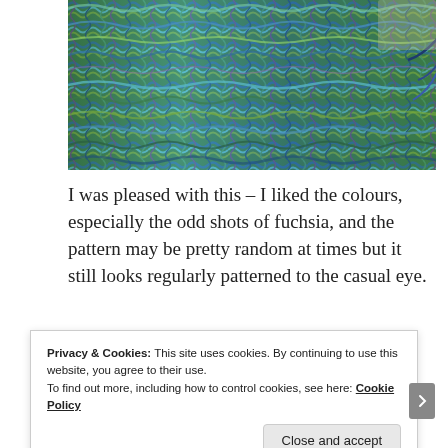[Figure (photo): Close-up photograph of a colorful knitted or crocheted textile showing multicolored yarn in blues, greens, teals, purples, and yellow-greens in a textured stitch pattern, laid flat on a light surface with loose yarn ends visible on the right side.]
I was pleased with this – I liked the colours, especially the odd shots of fuchsia, and the pattern may be pretty random at times but it still looks regularly patterned to the casual eye.
Privacy & Cookies: This site uses cookies. By continuing to use this website, you agree to their use.
To find out more, including how to control cookies, see here: Cookie Policy